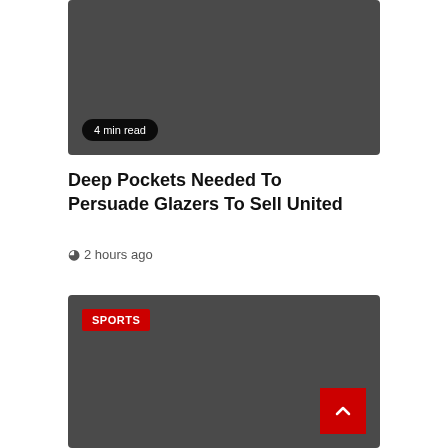[Figure (photo): Dark gray image card with '4 min read' badge in bottom-left corner]
4 min read
Deep Pockets Needed To Persuade Glazers To Sell United
2 hours ago
[Figure (photo): Dark gray image card with 'SPORTS' category badge and scroll-to-top red button in bottom-right]